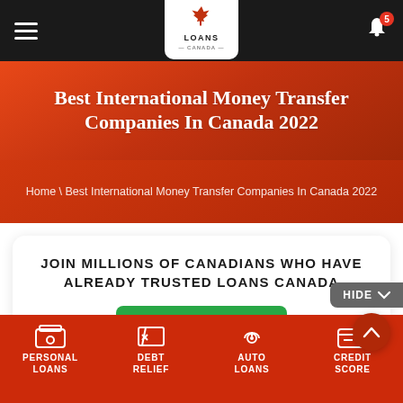Loans Canada — Navigation bar with hamburger menu, logo, and notification bell (badge: 5)
Best International Money Transfer Companies In Canada 2022
Home \ Best International Money Transfer Companies In Canada 2022
JOIN MILLIONS OF CANADIANS WHO HAVE ALREADY TRUSTED LOANS CANADA
APPLY NOW >
HIDE
PERSONAL LOANS | DEBT RELIEF | AUTO LOANS | CREDIT SCORE